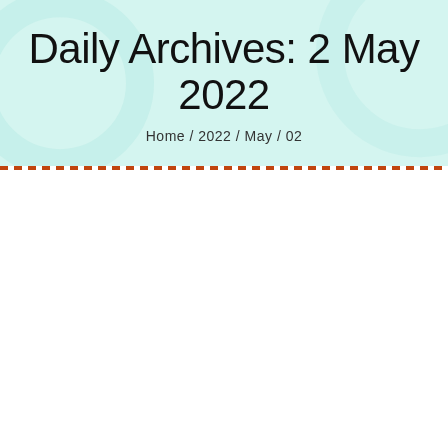Daily Archives: 2 May 2022
Home  /  2022  /  May  /  02